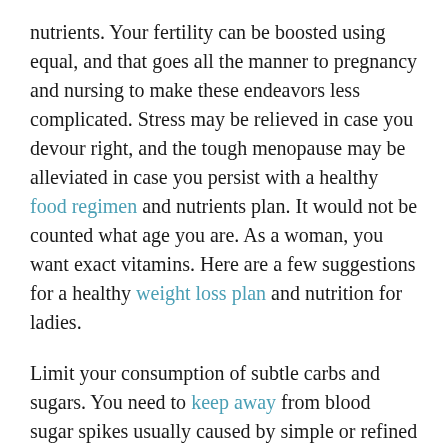nutrients. Your fertility can be boosted using equal, and that goes all the manner to pregnancy and nursing to make these endeavors less complicated. Stress may be relieved in case you devour right, and the tough menopause may be alleviated in case you persist with a healthy food regimen and nutrients plan. It would not be counted what age you are. As a woman, you want exact vitamins. Here are a few suggestions for a healthy weight loss plan and nutrition for ladies.
Limit your consumption of subtle carbs and sugars. You need to keep away from blood sugar spikes usually caused by simple or refined carbs discovered in white flour or white rice. These blood sugar spikes tend to be accompanied by using a quick crash that ends in your hunger pangs, wherein you're apt to overeat. Sure, you could avoid the desserts, the goodies, and the starches,